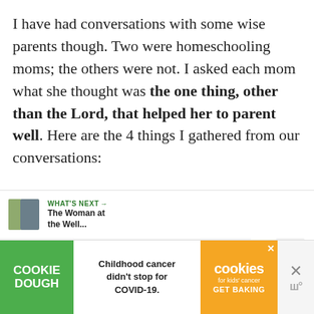I have had conversations with some wise parents though. Two were homeschooling moms; the others were not. I asked each mom what she thought was the one thing, other than the Lord, that helped her to parent well. Here are the 4 things I gathered from our conversations:
[Figure (screenshot): Social sharing widget showing count '0' and share button icon, plus a 'WHAT'S NEXT' bar with thumbnail and text 'The Woman at the Well...']
[Figure (screenshot): Advertisement banner for Cookie Dough brand with text 'Childhood cancer didn't stop for COVID-19.' and cookies for kids' cancer GET BAKING]